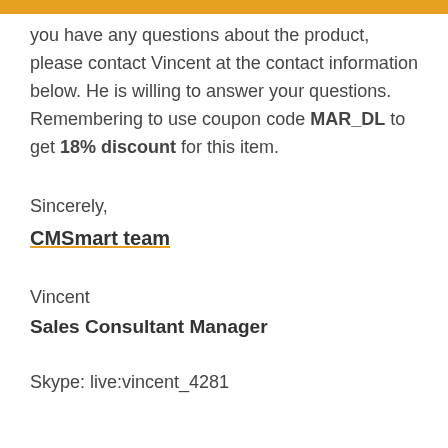you have any questions about the product, please contact Vincent at the contact information below. He is willing to answer your questions. Remembering to use coupon code MAR_DL to get 18% discount for this item.
Sincerely,
CMSmart team
Vincent
Sales Consultant Manager
Skype: live:vincent_4281